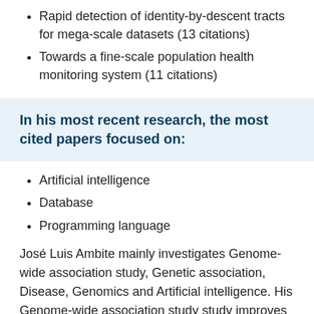Rapid detection of identity-by-descent tracts for mega-scale datasets (13 citations)
Towards a fine-scale population health monitoring system (11 citations)
In his most recent research, the most cited papers focused on:
Artificial intelligence
Database
Programming language
José Luis Ambite mainly investigates Genome-wide association study, Genetic association, Disease, Genomics and Artificial intelligence. His Genome-wide association study study improves the overall literature in Single-nucleotide polymorphism. His Genetic association research